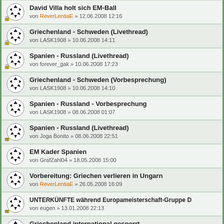David Villa holt sich EM-Ball
von ReverLentiaE » 12.06.2008 12:16
Griechenland - Schweden (Livethread)
von LASK1908 » 10.06.2008 14:11
Spanien - Russland (Livethread)
von forever_gak » 10.06.2008 17:23
Griechenland - Schweden (Vorbesprechung)
von LASK1908 » 10.06.2008 14:10
Spanien - Russland - Vorbesprechung
von LASK1908 » 08.06.2008 01:07
Spanien - Russland (Livethread)
von Joga Bonito » 08.06.2008 22:51
EM Kader Spanien
von GrafZahl04 » 18.05.2008 15:00
Vorbereitung: Griechen verlieren in Ungarn
von ReverLentiaE » 26.05.2008 16:09
UNTERKÜNFTE während Europameisterschaft-Gruppe D
von eugen » 13.01.2008 22:13
Griechenland international gesperrt
von junsky » 03.07.2006 19:51
Themen der letzten Zeit anzeigen: Alle Themen